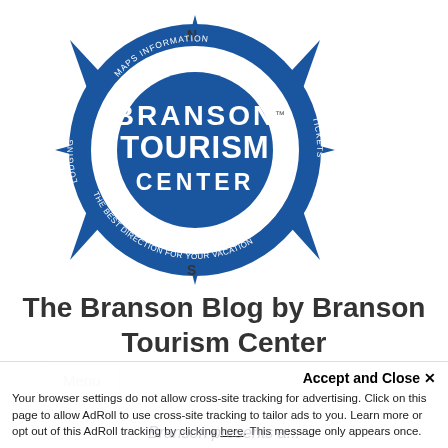[Figure (logo): Branson Tourism Center compass logo with blue star compass design, circular badge with BRANSON TOURISM CENTER text, showing LODGING, MAPS, INFORMATION, TICKETS, THE BEST DIRECTION FOR YOUR VACATION around the border]
The Branson Blog by Branson Tourism Center
Menu
Accept and Close ✕ Your browser settings do not allow cross-site tracking for advertising. Click on this page to allow AdRoll to use cross-site tracking to tailor ads to you. Learn more or opt out of this AdRoll tracking by clicking here. This message only appears once.